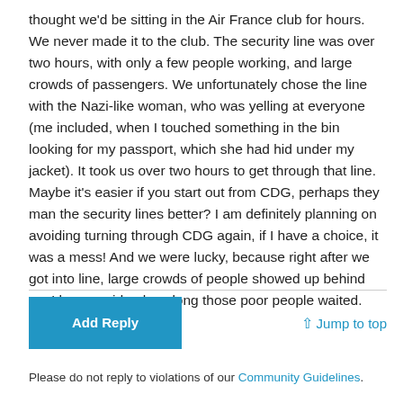thought we'd be sitting in the Air France club for hours. We never made it to the club. The security line was over two hours, with only a few people working, and large crowds of passengers. We unfortunately chose the line with the Nazi-like woman, who was yelling at everyone (me included, when I touched something in the bin looking for my passport, which she had hid under my jacket). It took us over two hours to get through that line. Maybe it's easier if you start out from CDG, perhaps they man the security lines better? I am definitely planning on avoiding turning through CDG again, if I have a choice, it was a mess! And we were lucky, because right after we got into line, large crowds of people showed up behind us. I have no idea how long those poor people waited.
Add Reply
↑ Jump to top
Please do not reply to violations of our Community Guidelines.